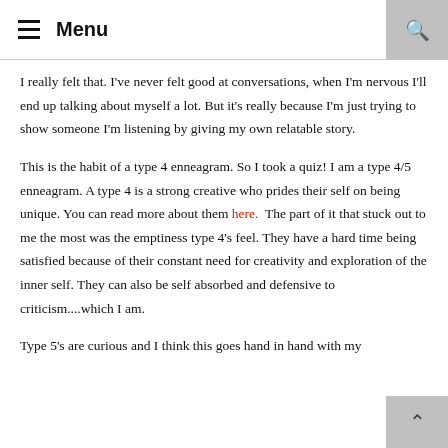Menu
I really felt that. I've never felt good at conversations, when I'm nervous I'll end up talking about myself a lot. But it's really because I'm just trying to show someone I'm listening by giving my own relatable story.
This is the habit of a type 4 enneagram. So I took a quiz! I am a type 4/5 enneagram. A type 4 is a strong creative who prides their self on being unique. You can read more about them here.  The part of it that stuck out to me the most was the emptiness type 4's feel. They have a hard time being satisfied because of their constant need for creativity and exploration of the inner self. They can also be self absorbed and defensive to criticism....which I am.
Type 5's are curious and I think this goes hand in hand with my